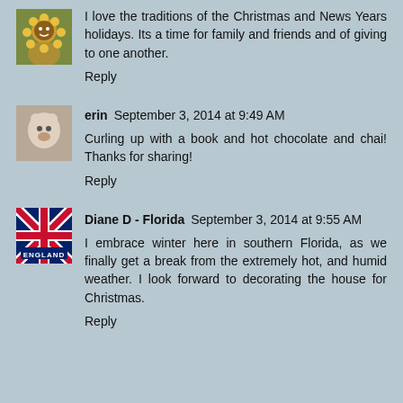[Figure (photo): Avatar: sunflower/person profile image]
I love the traditions of the Christmas and News Years holidays. Its a time for family and friends and of giving to one another.
Reply
[Figure (photo): Avatar: small animal or person profile image]
erin  September 3, 2014 at 9:49 AM
Curling up with a book and hot chocolate and chai! Thanks for sharing!
Reply
[Figure (illustration): England flag badge icon]
Diane D - Florida  September 3, 2014 at 9:55 AM
I embrace winter here in southern Florida, as we finally get a break from the extremely hot, and humid weather. I look forward to decorating the house for Christmas.
Reply